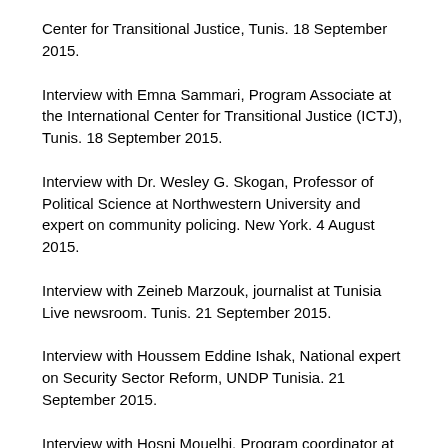Center for Transitional Justice, Tunis. 18 September 2015.
Interview with Emna Sammari, Program Associate at the International Center for Transitional Justice (ICTJ), Tunis. 18 September 2015.
Interview with Dr. Wesley G. Skogan, Professor of Political Science at Northwestern University and expert on community policing. New York. 4 August 2015.
Interview with Zeineb Marzouk, journalist at Tunisia Live newsroom. Tunis. 21 September 2015.
Interview with Houssem Eddine Ishak, National expert on Security Sector Reform, UNDP Tunisia. 21 September 2015.
Interview with Hosni Mouelhi, Program coordinator at Open Society Foundations, Tunis. 22 September 2015.